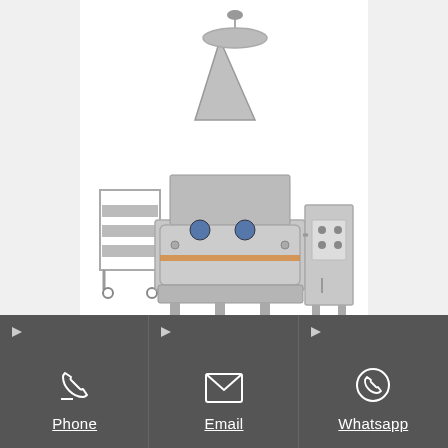[Figure (photo): Industrial mustard oil making machine — large grey/silver press/expeller machine with funnel on top, roller cart on left, control panel cabinet on right]
Five Steps in Mustard Oil Making & Usages
3/9/2016· Making mustard oil using a machine involves five
[Figure (infographic): Dark grey footer bar with three contact buttons: Phone (phone icon), Email (envelope icon), Whatsapp (whatsapp icon). Each column has a small right-arrow triangle in the upper-left corner.]